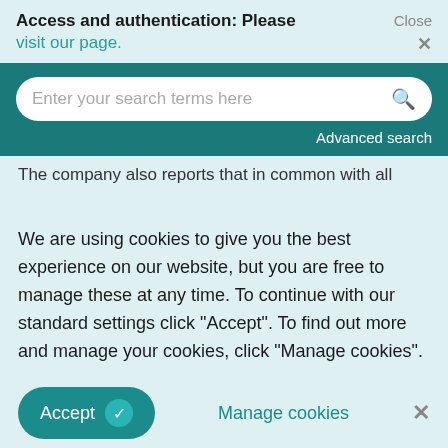Access and authentication: Please visit our page.  Close ×
Enter your search terms here  Advanced search
The company also reports that in common with all
We are using cookies to give you the best experience on our website, but you are free to manage these at any time. To continue with our standard settings click "Accept". To find out more and manage your cookies, click "Manage cookies".
Accept  Manage cookies  ×
power source, can be re-located to match changing machine configurations with out changing